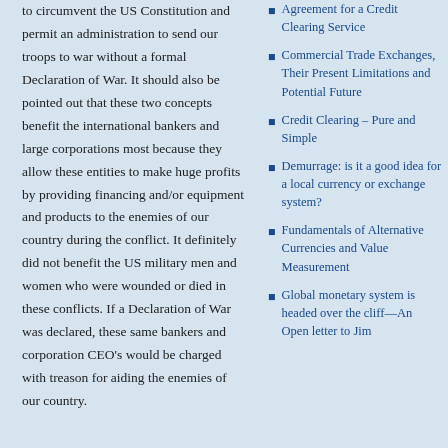to circumvent the US Constitution and permit an administration to send our troops to war without a formal Declaration of War. It should also be pointed out that these two concepts benefit the international bankers and large corporations most because they allow these entities to make huge profits by providing financing and/or equipment and products to the enemies of our country during the conflict. It definitely did not benefit the US military men and women who were wounded or died in these conflicts. If a Declaration of War was declared, these same bankers and corporation CEO's would be charged with treason for
Agreement for a Credit Clearing Service
Commercial Trade Exchanges, Their Present Limitations and Potential Future
Credit Clearing – Pure and Simple
Demurrage: is it a good idea for a local currency or exchange system?
Fundamentals of Alternative Currencies and Value Measurement
Global monetary system is headed over the cliff—An Open letter to Jim